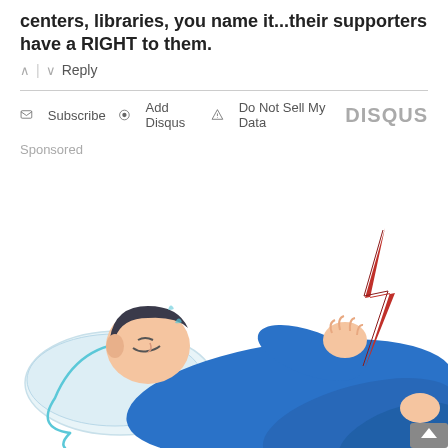centers, libraries, you name it...their supporters have a RIGHT to them.
↑ | ↓   Reply
✉ Subscribe  ⊙ Add Disqus  ⚠ Do Not Sell My Data   DISQUS
Sponsored
[Figure (illustration): Illustration of a person lying on a pillow in pain, wearing blue clothes, with a red lightning bolt symbol near their back indicating back pain.]